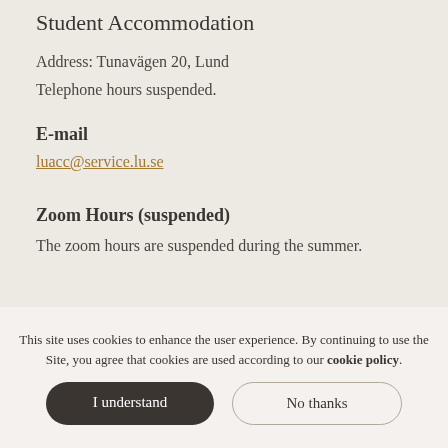Student Accommodation
Address: Tunavägen 20, Lund
Telephone hours suspended.
E-mail
luacc@service.lu.se
Zoom Hours (suspended)
The zoom hours are suspended during the summer.
This site uses cookies to enhance the user experience. By continuing to use the Site, you agree that cookies are used according to our cookie policy.